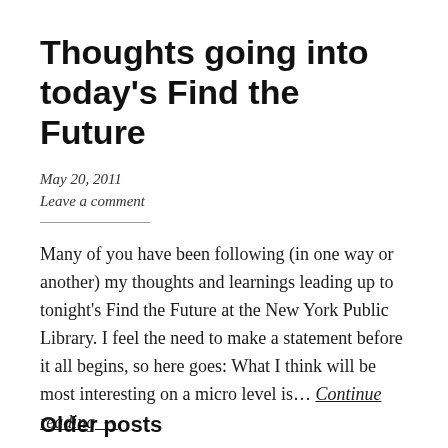Thoughts going into today's Find the Future
May 20, 2011
Leave a comment
Many of you have been following (in one way or another) my thoughts and learnings leading up to tonight's Find the Future at the New York Public Library. I feel the need to make a statement before it all begins, so here goes: What I think will be most interesting on a micro level is… Continue reading →
Older posts